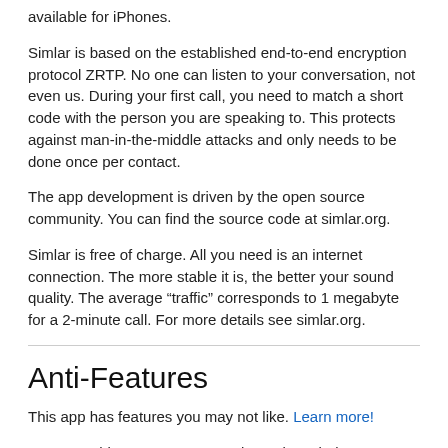available for iPhones.
Simlar is based on the established end-to-end encryption protocol ZRTP. No one can listen to your conversation, not even us. During your first call, you need to match a short code with the person you are speaking to. This protects against man-in-the-middle attacks and only needs to be done once per contact.
The app development is driven by the open source community. You can find the source code at simlar.org.
Simlar is free of charge. All you need is an internet connection. The more stable it is, the better your sound quality. The average “traffic” corresponds to 1 megabyte for a 2-minute call. For more details see simlar.org.
Anti-Features
This app has features you may not like. Learn more!
This app promotes or depends entirely on a non-